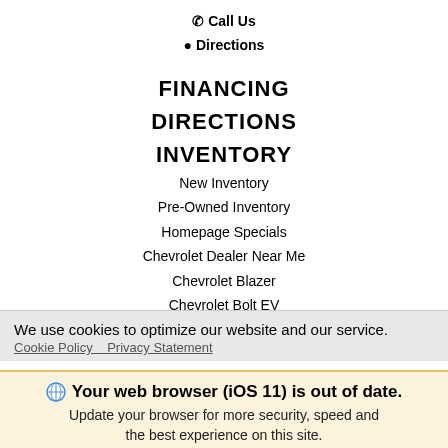📞 Call Us
📍 Directions
FINANCING
DIRECTIONS
INVENTORY
New Inventory
Pre-Owned Inventory
Homepage Specials
Chevrolet Dealer Near Me
Chevrolet Blazer
Chevrolet Bolt EV
Chevrolet Impala
We use cookies to optimize our website and our service.
Cookie Policy  Privacy Statement
Your web browser (iOS 11) is out of date. Update your browser for more security, speed and the best experience on this site.
Update browser    Ignore